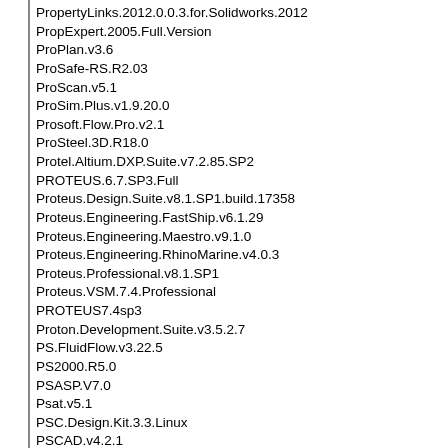PropertyLinks.2012.0.0.3.for.Solidworks.2012
PropExpert.2005.Full.Version
ProPlan.v3.6
ProSafe-RS.R2.03
ProScan.v5.1
ProSim.Plus.v1.9.20.0
Prosoft.Flow.Pro.v2.1
ProSteel.3D.R18.0
Protel.Altium.DXP.Suite.v7.2.85.SP2
PROTEUS.6.7.SP3.Full
Proteus.Design.Suite.v8.1.SP1.build.17358
Proteus.Engineering.FastShip.v6.1.29
Proteus.Engineering.Maestro.v9.1.0
Proteus.Engineering.RhinoMarine.v4.0.3
Proteus.Professional.v8.1.SP1
Proteus.VSM.7.4.Professional
PROTEUS7.4sp3
Proton.Development.Suite.v3.5.2.7
PS.FluidFlow.v3.22.5
PS2000.R5.0
PSASP.V7.0
Psat.v5.1
PSC.Design.Kit.3.3.Linux
PSCAD.v4.2.1
PSCAD.v4.5.0
PSCAD/EMTDC.V3.0.8
PSE.gPROMS.3.1.5.Func
psim.9.2.1
PSoC.Designer.Incl.C.Compiler.v4.0
Pspice.v9.2